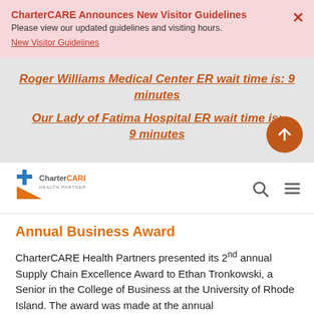CharterCARE Announces New Visitor Guidelines
Please view our updated guidelines and visiting hours.
New Visitor Guidelines
Roger Williams Medical Center ER wait time is: 9 minutes
Our Lady of Fatima Hospital ER wait time is: 9 minutes
[Figure (logo): CharterCARE Health Partners logo with blue star and orange triangle]
Annual Business Award
CharterCARE Health Partners presented its 2nd annual Supply Chain Excellence Award to Ethan Tronkowski, a Senior in the College of Business at the University of Rhode Island. The award was made at the annual